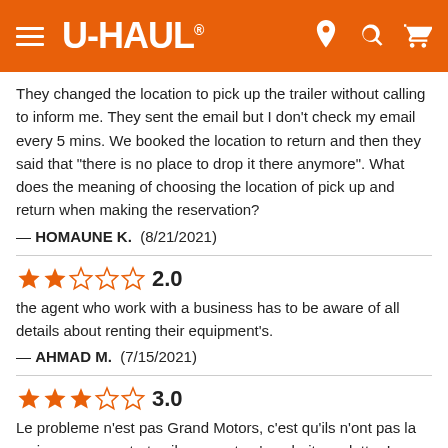[Figure (logo): U-Haul website header with orange background, hamburger menu, U-Haul logo, and location/search/cart icons]
They changed the location to pick up the trailer without calling to inform me. They sent the email but I don't check my email every 5 mins. We booked the location to return and then they said that "there is no place to drop it there anymore". What does the meaning of choosing the location of pick up and return when making the reservation?
— HOMAUNE K.  (8/21/2021)
[Figure (other): 2-star rating out of 5, showing 2 filled orange stars and 3 empty stars, with score 2.0]
the agent who work with a business has to be aware of all details about renting their equipment's.
— AHMAD M.  (7/15/2021)
[Figure (other): 3-star rating out of 5, showing 3 filled orange stars and 2 empty stars, with score 3.0]
Le probleme n'est pas Grand Motors, c'est qu'ils n'ont pas la main sur vos contrats : ils ne sont qu'une boite au lettre ! Quand on a un soucis, on ne peut pas s'adresser a eux car ils nous renvoient